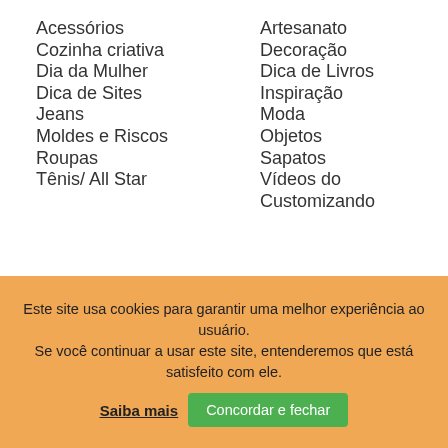Acessórios
Cozinha criativa
Dia da Mulher
Dica de Sites
Jeans
Moldes e Riscos
Roupas
Tênis/ All Star
Artesanato
Decoração
Dica de Livros
Inspiração
Moda
Objetos
Sapatos
Vídeos do Customizando
Este site usa cookies para garantir uma melhor experiência ao usuário.
Se você continuar a usar este site, entenderemos que está satisfeito com ele.
Saiba mais   Concordar e fechar